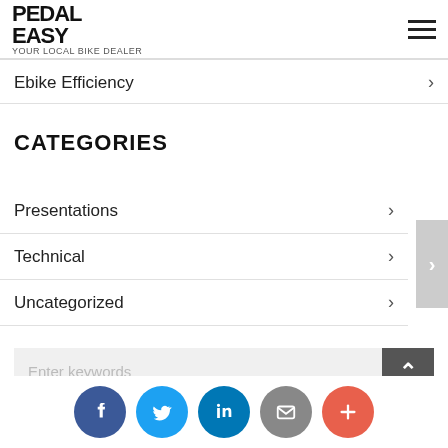[Figure (logo): Pedal Easy logo with stylized text and bicycle icon]
Ebike Efficiency
CATEGORIES
Presentations
Technical
Uncategorized